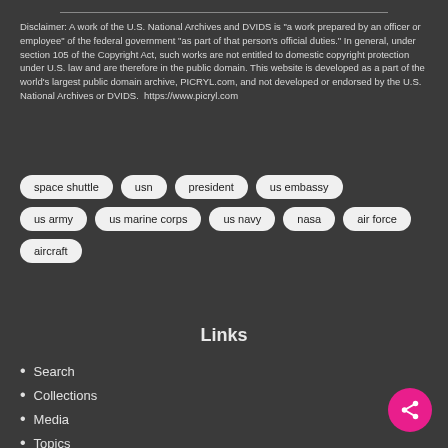Disclaimer: A work of the U.S. National Archives and DVIDS is "a work prepared by an officer or employee" of the federal government "as part of that person's official duties." In general, under section 105 of the Copyright Act, such works are not entitled to domestic copyright protection under U.S. law and are therefore in the public domain. This website is developed as a part of the world's largest public domain archive, PICRYL.com, and not developed or endorsed by the U.S. National Archives or DVIDS.  https://www.picryl.com
space shuttle
usn
president
us embassy
us army
us marine corps
us navy
nasa
air force
aircraft
Links
Search
Collections
Media
Topics
About